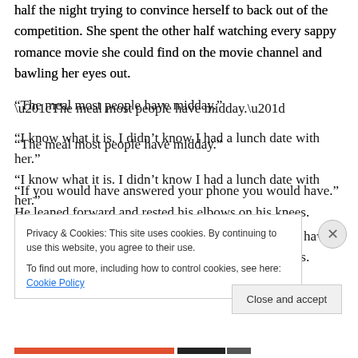half the night trying to convince herself to back out of the competition. She spent the other half watching every sappy romance movie she could find on the movie channel and bawling her eyes out.
“The meal most people have midday.”
“I know what it is. I didn’t know I had a lunch date with her.”
“If you would have answered your phone you would have.” He leaned forward and rested his elbows on his knees.
“She’s…
Privacy & Cookies: This site uses cookies. By continuing to use this website, you agree to their use.
To find out more, including how to control cookies, see here: Cookie Policy
Close and accept